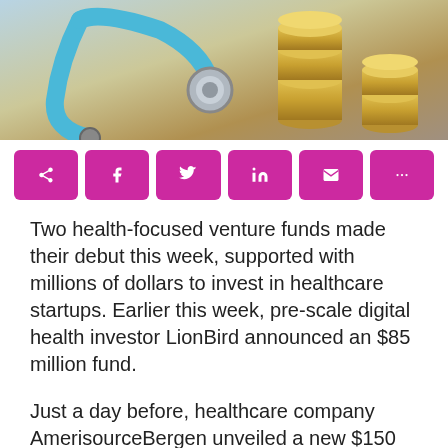[Figure (photo): Photo of stethoscope with stacked coins on blue background, representing healthcare finance]
[Figure (infographic): Row of six magenta/pink social sharing buttons with icons]
Two health-focused venture funds made their debut this week, supported with millions of dollars to invest in healthcare startups. Earlier this week, pre-scale digital health investor LionBird announced an $85 million fund.
Just a day before, healthcare company AmerisourceBergen unveiled a new $150 venture fund focused on emerging healthcare startups dubbed AB Health Ventures.